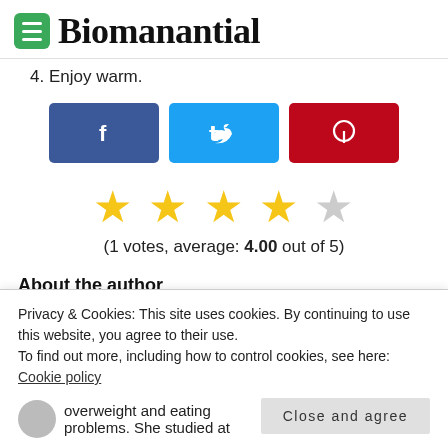Biomanantial
4. Enjoy warm.
[Figure (other): Social share buttons: Facebook (blue), Twitter (light blue), Pinterest (red)]
[Figure (other): Star rating: 4 gold stars and 1 gray star]
(1 votes, average: 4.00 out of 5)
About the author
Privacy & Cookies: This site uses cookies. By continuing to use this website, you agree to their use.
To find out more, including how to control cookies, see here: Cookie policy
Close and agree
overweight and eating problems. She studied at